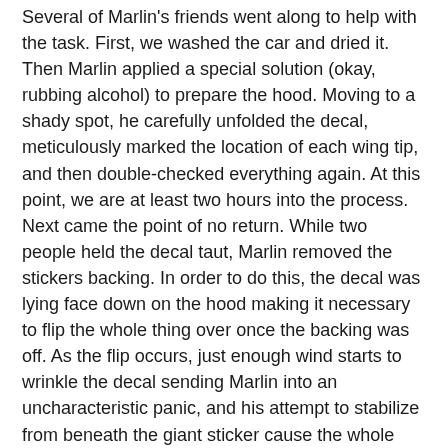Several of Marlin's friends went along to help with the task. First, we washed the car and dried it. Then Marlin applied a special solution (okay, rubbing alcohol) to prepare the hood. Moving to a shady spot, he carefully unfolded the decal, meticulously marked the location of each wing tip, and then double-checked everything again. At this point, we are at least two hours into the process. Next came the point of no return. While two people held the decal taut, Marlin removed the stickers backing. In order to do this, the decal was lying face down on the hood making it necessary to flip the whole thing over once the backing was off. As the flip occurs, just enough wind starts to wrinkle the decal sending Marlin into an uncharacteristic panic, and his attempt to stabilize from beneath the giant sticker cause the whole thing to fold in on itself…you guessed it, sticky sides together.
For the first and only time in the three years that I knew Marlin, I heard him utter a single profanity.
Marlin didn't curse, even though he lived in a men's dorm full of guys who did. But, I certainly didn't think any less of Marlin that day, not in the least. He lived a Christian lifestyle each and every day while staying one of the guys. He didn't drink, do drugs, tell dirty jokes or give in to any of the negative peer pressures that high school and college kids